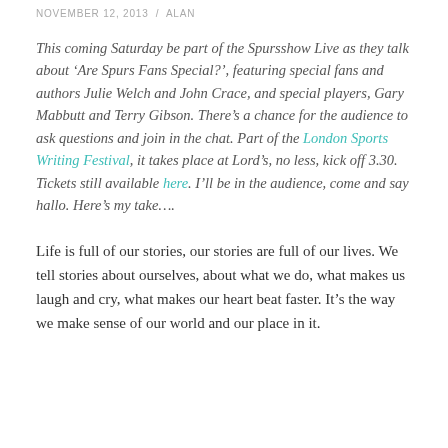NOVEMBER 12, 2013 / ALAN
This coming Saturday be part of the Spursshow Live as they talk about ‘Are Spurs Fans Special?’, featuring special fans and authors Julie Welch and John Crace, and special players, Gary Mabbutt and Terry Gibson. There’s a chance for the audience to ask questions and join in the chat. Part of the London Sports Writing Festival, it takes place at Lord’s, no less, kick off 3.30. Tickets still available here. I’ll be in the audience, come and say hallo. Here’s my take….
Life is full of our stories, our stories are full of our lives. We tell stories about ourselves, about what we do, what makes us laugh and cry, what makes our heart beat faster. It’s the way we make sense of our world and our place in it.